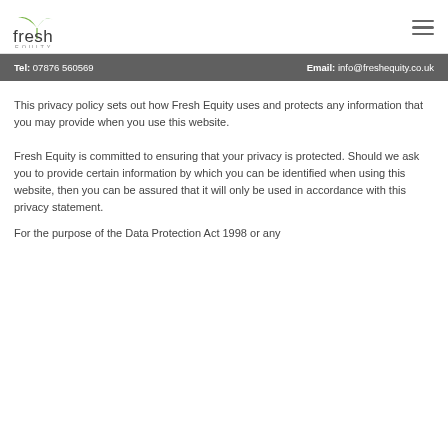[Figure (logo): Fresh Equity logo — stylized green leaf over the word 'fresh' in dark grey, with 'EQUITY' in small caps below]
Tel: 07876 560569    Email: info@freshequity.co.uk
This privacy policy sets out how Fresh Equity uses and protects any information that you may provide when you use this website.
Fresh Equity is committed to ensuring that your privacy is protected. Should we ask you to provide certain information by which you can be identified when using this website, then you can be assured that it will only be used in accordance with this privacy statement.
For the purpose of the Data Protection Act 1998 or any